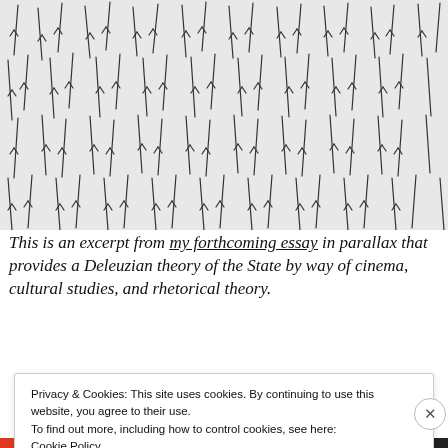[Figure (illustration): Dense black-and-white illustration of many daggers/knives arranged in varied orientations across the entire image area, drawn in a loose sketchy style.]
This is an excerpt from my forthcoming essay in parallax that provides a Deleuzian theory of the State by way of cinema, cultural studies, and rhetorical theory.
Privacy & Cookies: This site uses cookies. By continuing to use this website, you agree to their use.
To find out more, including how to control cookies, see here:
Cookie Policy
Close and accept